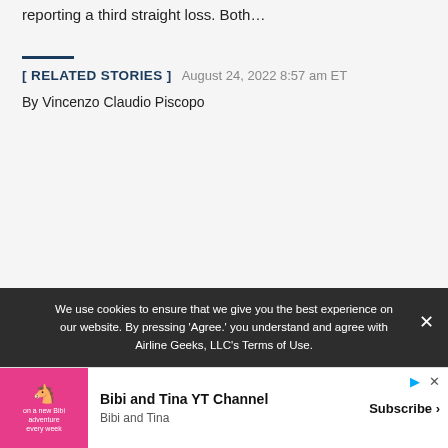reporting a third straight loss. Both…
[ RELATED STORIES ]  August 24, 2022 8:57 am ET
By Vincenzo Claudio Piscopo
We use cookies to ensure that we give you the best experience on our website. By pressing 'Agree.' you understand and agree with Airline Geeks, LLC's Terms of Use.
[Figure (screenshot): Advertisement banner for Bibi and Tina YT Channel with pink illustrated image and Subscribe button]